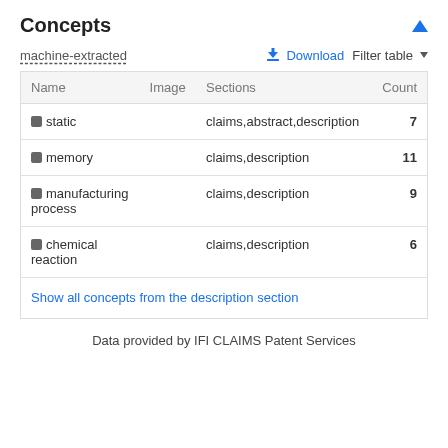Concepts
machine-extracted
| Name | Image | Sections | Count |
| --- | --- | --- | --- |
| ■ static |  | claims,abstract,description | 7 |
| ■ memory |  | claims,description | 11 |
| ■ manufacturing process |  | claims,description | 9 |
| ■ chemical reaction |  | claims,description | 6 |
| Show all concepts from the description section |  |  |  |
Data provided by IFI CLAIMS Patent Services